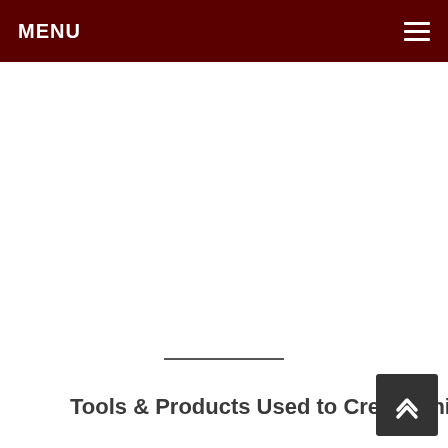MENU
Tools & Products Used to Create This Style